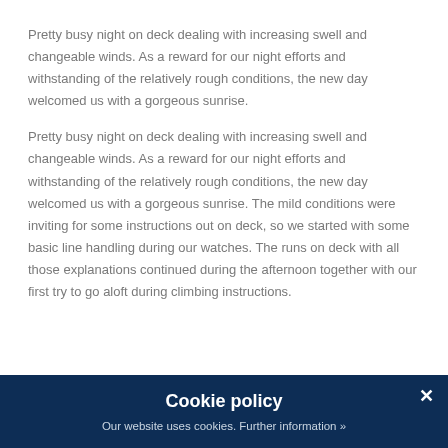Pretty busy night on deck dealing with increasing swell and changeable winds. As a reward for our night efforts and withstanding of the relatively rough conditions, the new day welcomed us with a gorgeous sunrise.
Pretty busy night on deck dealing with increasing swell and changeable winds. As a reward for our night efforts and withstanding of the relatively rough conditions, the new day welcomed us with a gorgeous sunrise. The mild conditions were inviting for some instructions out on deck, so we started with some basic line handling during our watches. The runs on deck with all those explanations continued during the afternoon together with our first try to go aloft during climbing instructions.
Cookie policy
Our website uses cookies. Further information »